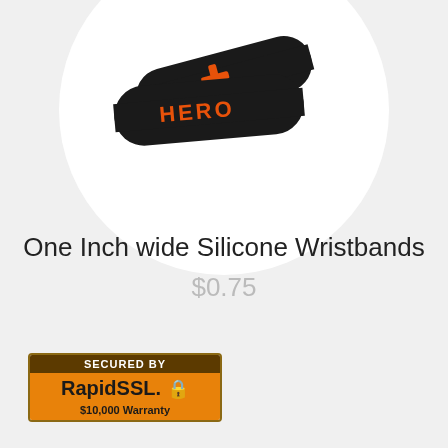[Figure (photo): Two black silicone wristbands with orange text and logo. One reads HERO and the other shows an orange cross/plus symbol. Displayed on a white circular background.]
One Inch wide Silicone Wristbands
$0.75
[Figure (logo): RapidSSL Secured By badge with $10,000 Warranty. Brown border, dark brown top bar with SECURED BY text, orange background with RapidSSL brand name and lock icon, orange bottom bar with $10,000 Warranty text.]